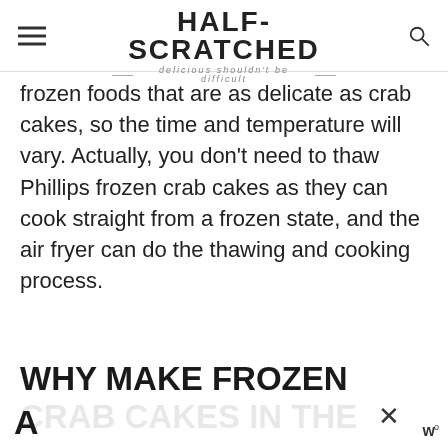HALF-SCRATCHED — delicious shouldn't be difficult
frozen foods that are as delicate as crab cakes, so the time and temperature will vary. Actually, you don't need to thaw Phillips frozen crab cakes as they can cook straight from a frozen state, and the air fryer can do the thawing and cooking process.
WHY MAKE FROZEN CRAB CAKES IN THE